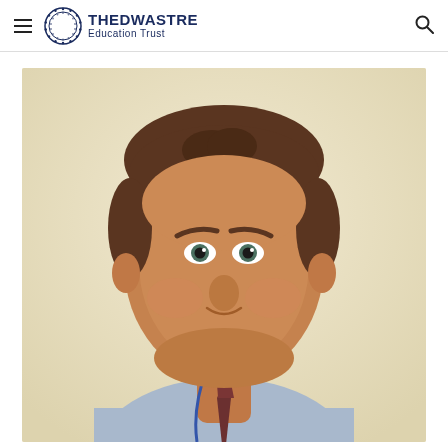Thedwastre Education Trust
[Figure (photo): Headshot photo of a middle-aged man with short brown hair, smiling, wearing a light blue shirt, tie, and lanyard, photographed against a cream/beige wall background.]